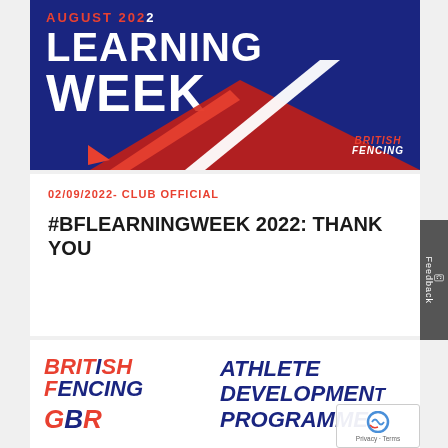[Figure (illustration): British Fencing Learning Week promotional banner on dark blue background with red geometric arrow shapes and text 'AUGUST 2022 LEARNING WEEK' with British Fencing logo]
02/09/2022- CLUB OFFICIAL
#BFLEARNINGWEEK 2022: THANK YOU
[Figure (logo): British Fencing and GBP logos on the left, with 'ATHLETE DEVELOPMENT PROGRAMME' text on the right, all on white background]